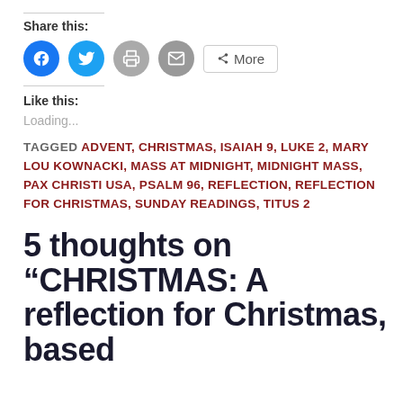Share this:
[Figure (infographic): Social share buttons: Facebook (blue circle), Twitter (blue circle), Print (gray circle), Email (gray circle), and a More button]
Like this:
Loading...
TAGGED ADVENT, CHRISTMAS, ISAIAH 9, LUKE 2, MARY LOU KOWNACKI, MASS AT MIDNIGHT, MIDNIGHT MASS, PAX CHRISTI USA, PSALM 96, REFLECTION, REFLECTION FOR CHRISTMAS, SUNDAY READINGS, TITUS 2
5 thoughts on “CHRISTMAS: A reflection for Christmas, based